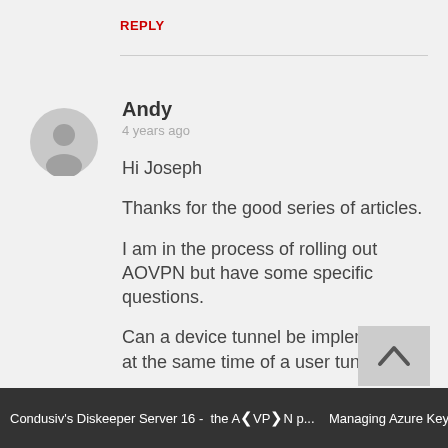REPLY
Andy
4 years ago
Hi Joseph

Thanks for the good series of articles.

I am in the process of rolling out AOVPN but have some specific questions.

Can a device tunnel be implemented at the same time of a user tunnel ?

If yes can the end user disconnect both as required
Condusiv's Diskeeper Server 16 -   the AOVPN p...   Managing Azure Key Vault using P...